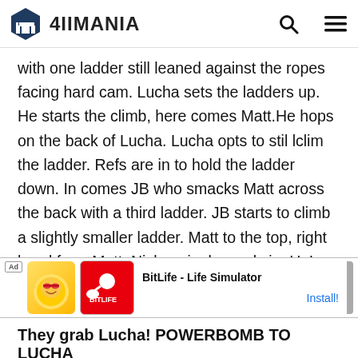4IIMANIA
with one ladder still leaned against the ropes facing hard cam. Lucha sets the ladders up. He starts the climb, here comes Matt.He hops on the back of Lucha. Lucha opts to stil lclim the ladder. Refs are in to hold the ladder down. In comes JB who smacks Matt across the back with a third ladder. JB starts to climb a slightly smaller ladder. Matt to the top, right hand from Matt. Nick springbaoards in. He's on the same ladder as Lucha. All four on the ladders. They trade blows, with JB slamming Matt on the top of the ladder. JB Falls. Lucha sends Nick down
[Figure (screenshot): Ad banner for BitLife - Life Simulator mobile game with Install button]
They grab Lucha! POWERBOMB TO LUCHA